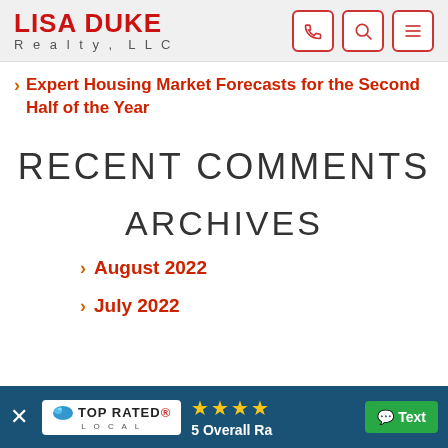LISA DUKE Realty, LLC
Expert Housing Market Forecasts for the Second Half of the Year
RECENT COMMENTS
ARCHIVES
August 2022
July 2022
TOP RATED LOCAL — 5 Overall Ra... Text